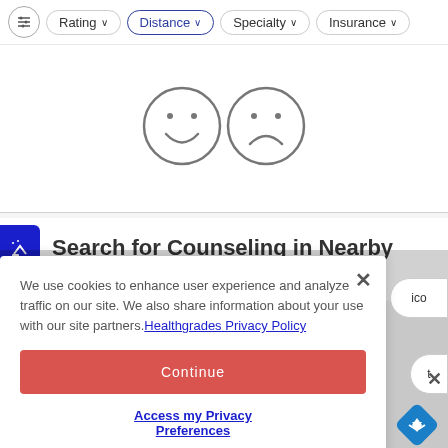Filter controls: Rating, Distance (active), Specialty, Insurance
[Figure (illustration): Two emoji-style face icons: a happy/smiling face on the left and a sad/frowning face on the right, drawn as circle outlines with simple facial features]
Search for Counseling in Nearby Cities
We use cookies to enhance user experience and analyze traffic on our site. We also share information about your use with our site partners. Healthgrades Privacy Policy
Continue
Access my Privacy Preferences